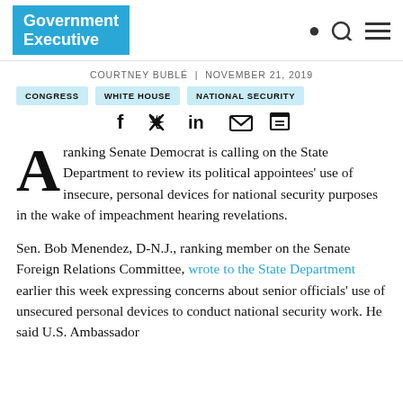Government Executive
COURTNEY BUBLÉ | NOVEMBER 21, 2019
CONGRESS
WHITE HOUSE
NATIONAL SECURITY
[Figure (other): Social share icons: Facebook, Twitter, LinkedIn, Email, Print]
A ranking Senate Democrat is calling on the State Department to review its political appointees' use of insecure, personal devices for national security purposes in the wake of impeachment hearing revelations.
Sen. Bob Menendez, D-N.J., ranking member on the Senate Foreign Relations Committee, wrote to the State Department earlier this week expressing concerns about senior officials' use of unsecured personal devices to conduct national security work. He said U.S. Ambassador